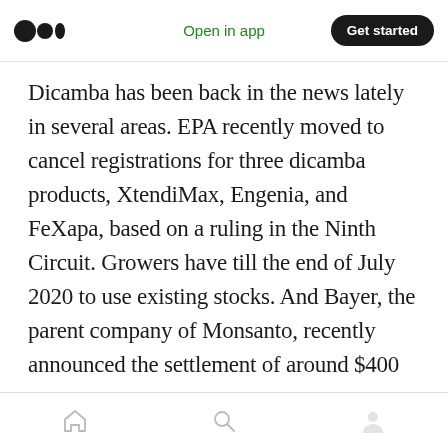Open in app | Get started
Dicamba has been back in the news lately in several areas. EPA recently moved to cancel registrations for three dicamba products, XtendiMax, Engenia, and FeXapa, based on a ruling in the Ninth Circuit. Growers have till the end of July 2020 to use existing stocks. And Bayer, the parent company of Monsanto, recently announced the settlement of around $400 million for class-action lawsuits filed against possible drift damage caused by the company's XtendiMax product. Although details of that
Home | Search | Profile